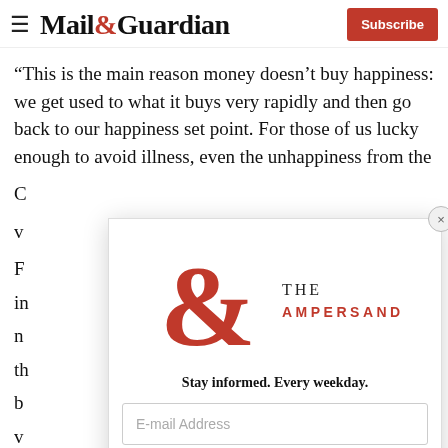Mail&Guardian — Subscribe
“This is the main reason money doesn’t buy happiness: we get used to what it buys very rapidly and then go back to our happiness set point. For those of us lucky enough to avoid illness, even the unhappiness from the C... v...
[Figure (logo): The Ampersand newsletter logo — large red ampersand with 'THE AMPERSAND' text]
Stay informed. Every weekday.
E-mail Address
Signup now
F... in... n... th... b... v... lo... a...